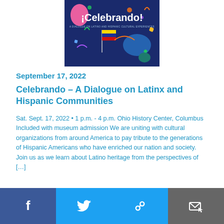[Figure (illustration): ¡Celebrando! event poster with colorful shapes, a Colombian flag, and subtitle 'A Dialogue on Latino and Hispanic Cultural Experiences' on a dark navy background]
September 17, 2022
Celebrando – A Dialogue on Latinx and Hispanic Communities
Sat. Sept. 17, 2022 • 1 p.m. - 4 p.m. Ohio History Center, Columbus Included with museum admission We are uniting with cultural organizations from around America to pay tribute to the generations of Hispanic Americans who have enriched our nation and society. Join us as we learn about Latino heritage from the perspectives of […]
Facebook | Twitter | Link | Email